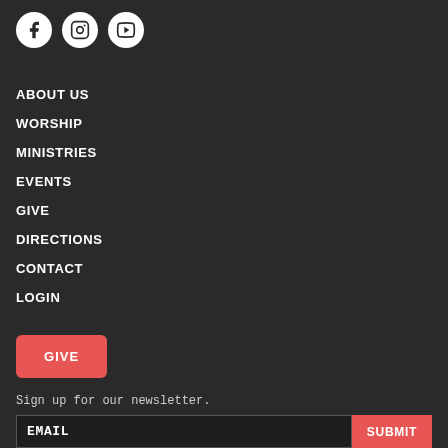[Figure (illustration): Three social media icons (Facebook, Instagram, YouTube) displayed as white circles with dark icons inside, on a dark background.]
ABOUT US
WORSHIP
MINISTRIES
EVENTS
GIVE
DIRECTIONS
CONTACT
LOGIN
GIVE
Sign up for our newsletter.
EMAIL
SUBMIT